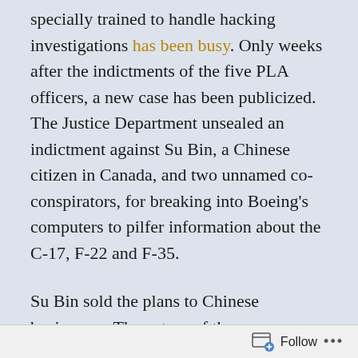specially trained to handle hacking investigations has been busy. Only weeks after the indictments of the five PLA officers, a new case has been publicized. The Justice Department unsealed an indictment against Su Bin, a Chinese citizen in Canada, and two unnamed co-conspirators, for breaking into Boeing's computers to pilfer information about the C-17, F-22 and F-35.
Su Bin sold the plans to Chinese businesses. The nature of the case underscores how messy the relationship is between China's military and the
Follow ...